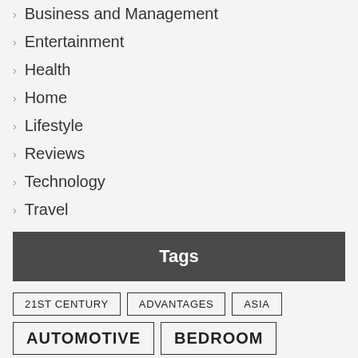Business and Management
Entertainment
Health
Home
Lifestyle
Reviews
Technology
Travel
Tags
21ST CENTURY  ADVANTAGES  ASIA  AUTOMOTIVE  BEDROOM  BUSINESS